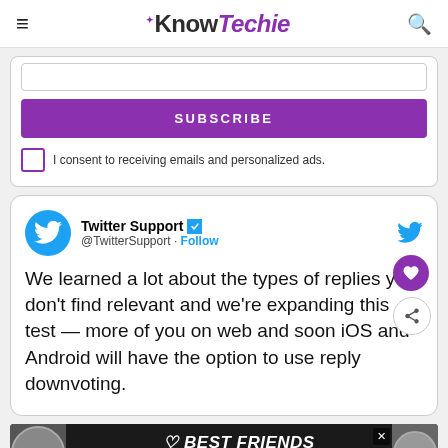KnowTechie
[Figure (screenshot): Subscribe button (purple) with email consent checkbox below it]
[Figure (screenshot): Embedded tweet from Twitter Support @TwitterSupport with Follow button and tweet text: We learned a lot about the types of replies you don't find relevant and we're expanding this test — more of you on web and soon iOS and Android will have the option to use reply downvoting.]
[Figure (photo): Ad banner with cats and text BEST FRIENDS FOREVER]